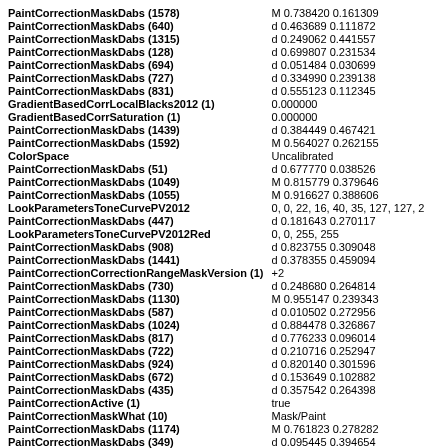| Key | Value |
| --- | --- |
| PaintCorrectionMaskDabs (1578) | M 0.738420 0.161309 |
| PaintCorrectionMaskDabs (640) | d 0.463689 0.111872 |
| PaintCorrectionMaskDabs (1315) | d 0.249062 0.441557 |
| PaintCorrectionMaskDabs (128) | d 0.699807 0.231534 |
| PaintCorrectionMaskDabs (694) | d 0.051484 0.030699 |
| PaintCorrectionMaskDabs (727) | d 0.334990 0.239138 |
| PaintCorrectionMaskDabs (831) | d 0.555123 0.112345 |
| GradientBasedCorrLocalBlacks2012 (1) | 0.000000 |
| GradientBasedCorrSaturation (1) | 0.000000 |
| PaintCorrectionMaskDabs (1439) | d 0.384449 0.467421 |
| PaintCorrectionMaskDabs (1592) | M 0.564027 0.262155 |
| ColorSpace | Uncalibrated |
| PaintCorrectionMaskDabs (51) | d 0.677770 0.038526 |
| PaintCorrectionMaskDabs (1049) | M 0.815779 0.379646 |
| PaintCorrectionMaskDabs (1055) | M 0.916627 0.388606 |
| LookParametersToneCurvePV2012 | 0, 0, 22, 16, 40, 35, 127, 127, 2 |
| PaintCorrectionMaskDabs (447) | d 0.181643 0.270117 |
| LookParametersToneCurvePV2012Red | 0, 0, 255, 255 |
| PaintCorrectionMaskDabs (908) | d 0.823755 0.309048 |
| PaintCorrectionMaskDabs (1441) | d 0.378355 0.459094 |
| PaintCorrectionCorrectionRangeMaskVersion (1) | +2 |
| PaintCorrectionMaskDabs (730) | d 0.248680 0.264814 |
| PaintCorrectionMaskDabs (1130) | M 0.955147 0.239343 |
| PaintCorrectionMaskDabs (587) | d 0.010502 0.272956 |
| PaintCorrectionMaskDabs (1024) | d 0.884478 0.326867 |
| PaintCorrectionMaskDabs (817) | d 0.776233 0.096014 |
| PaintCorrectionMaskDabs (722) | d 0.210716 0.252947 |
| PaintCorrectionMaskDabs (924) | d 0.820140 0.301596 |
| PaintCorrectionMaskDabs (672) | d 0.153649 0.102882 |
| PaintCorrectionMaskDabs (435) | d 0.357542 0.264398 |
| PaintCorrectionActive (1) | true |
| PaintCorrectionMaskWhat (10) | Mask/Paint |
| PaintCorrectionMaskDabs (1174) | M 0.761823 0.278282 |
| PaintCorrectionMaskDabs (349) | d 0.095445 0.394654 |
| PaintCorrectionMaskDabs (1064) | M 0.961804 0.385919 |
| PaintCorrectionMaskDabs (220) | d 0.604291 0.379770 |
| PaintCorrectionMaskDabs (1695) | M 0.959779 0.310508 |
| PaintCorrectionMaskDabs (710) | d 0.058257 0.215158 |